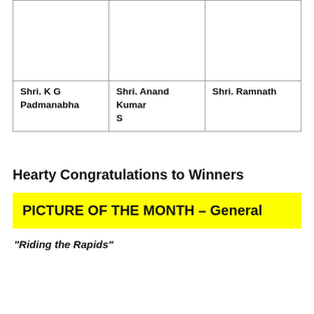| (image) | (image) | (image) |
| Shri. K G Padmanabha | Shri. Anand Kumar S | Shri. Ramnath |
Hearty Congratulations to Winners
PICTURE OF THE MONTH – General
“Riding the Rapids”